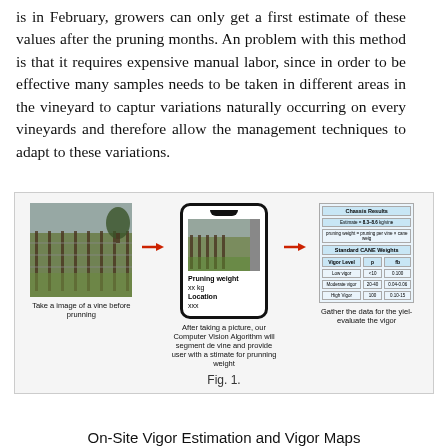is in February, growers can only get a first estimate of these values after the pruning months. An problem with this method is that it requires expensive manual labor, since in order to be effective many samples needs to be taken in different areas in the vineyard to capture variations naturally occurring on every vineyards and therefore allow the management techniques to adapt to these variations.
[Figure (illustration): Workflow diagram showing three steps: (1) Photo of a vineyard before pruning, (2) A smartphone showing pruning weight estimate with Computer Vision, (3) A results table for gathering vigor data. Arrows connect each step.]
Fig. 1.
On-Site Vigor Estimation and Vigor Maps